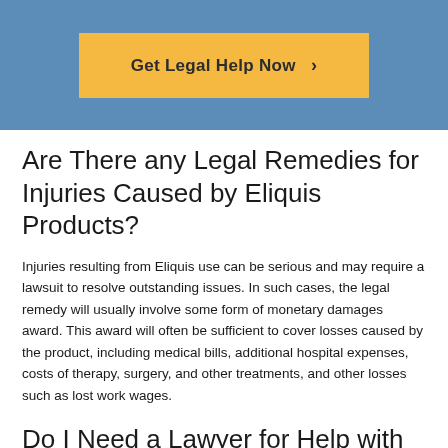[Figure (other): Blue header banner with a yellow/orange 'Get Legal Help Now >' call-to-action button]
Are There any Legal Remedies for Injuries Caused by Eliquis Products?
Injuries resulting from Eliquis use can be serious and may require a lawsuit to resolve outstanding issues. In such cases, the legal remedy will usually involve some form of monetary damages award. This award will often be sufficient to cover losses caused by the product, including medical bills, additional hospital expenses, costs of therapy, surgery, and other treatments, and other losses such as lost work wages.
Do I Need a Lawyer for Help with an Eliquis Lawsuit?
Eliquis lawsuits can be complex, and typically require the